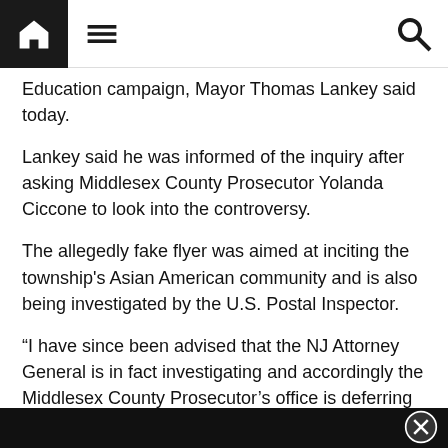Navigation bar with home, menu, and search icons
Education campaign, Mayor Thomas Lankey said today.
Lankey said he was informed of the inquiry after asking Middlesex County Prosecutor Yolanda Ciccone to look into the controversy.
The allegedly fake flyer was aimed at inciting the township's Asian American community and is also being investigated by the U.S. Postal Inspector.
“I have since been advised that the NJ Attorney General is in fact investigating and accordingly the Middlesex County Prosecutor’s office is deferring (as it must) to the Attorney General,’ Lankey said in a statement.  “We urge the Attorney General to act decisively to help us finally put this matter behind us.”